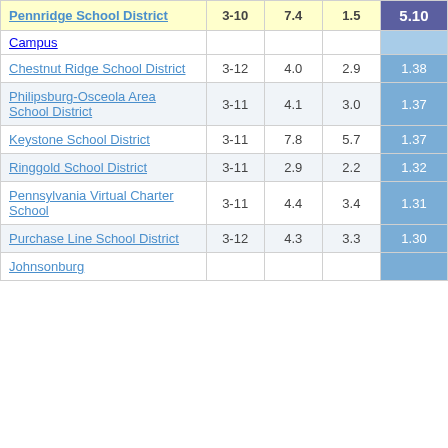| School District | Grades | Col3 | Col4 | Score |
| --- | --- | --- | --- | --- |
| Pennridge School District | 3-10 | 7.4 | 1.5 | 5.10 |
| Campus |  |  |  |  |
| Chestnut Ridge School District | 3-12 | 4.0 | 2.9 | 1.38 |
| Philipsburg-Osceola Area School District | 3-11 | 4.1 | 3.0 | 1.37 |
| Keystone School District | 3-11 | 7.8 | 5.7 | 1.37 |
| Ringgold School District | 3-11 | 2.9 | 2.2 | 1.32 |
| Pennsylvania Virtual Charter School | 3-11 | 4.4 | 3.4 | 1.31 |
| Purchase Line School District | 3-12 | 4.3 | 3.3 | 1.30 |
| Johnsonburg |  |  |  |  |